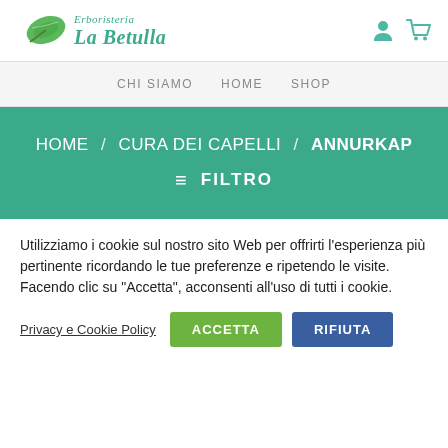[Figure (logo): Erboristeria La Betulla logo with green leaf icon and teal italic text]
CHI SIAMO   HOME   SHOP
HOME / CURA DEI CAPELLI / ANNURKAP
≡ FILTRO
Utilizziamo i cookie sul nostro sito Web per offrirti l'esperienza più pertinente ricordando le tue preferenze e ripetendo le visite. Facendo clic su "Accetta", acconsenti all'uso di tutti i cookie.
Privacy e Cookie Policy   ACCETTA   RIFIUTA